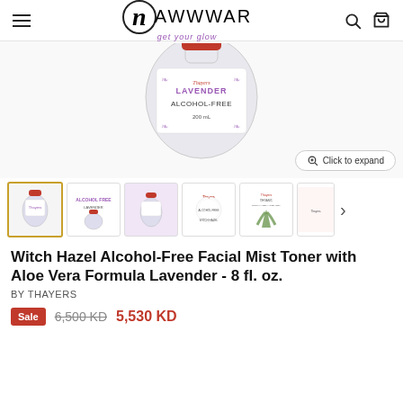Nawwwar - get your glow
[Figure (photo): Product photo of Thayers Lavender Alcohol-Free witch hazel toner bottle, showing label with 'LAVENDER ALCOHOL-FREE 200mL']
[Figure (screenshot): Thumbnail gallery of product images: 5 thumbnails visible plus a next arrow. First thumbnail selected (active border).]
Witch Hazel Alcohol-Free Facial Mist Toner with Aloe Vera Formula Lavender - 8 fl. oz.
BY THAYERS
Sale  6,500 KD  5,530 KD